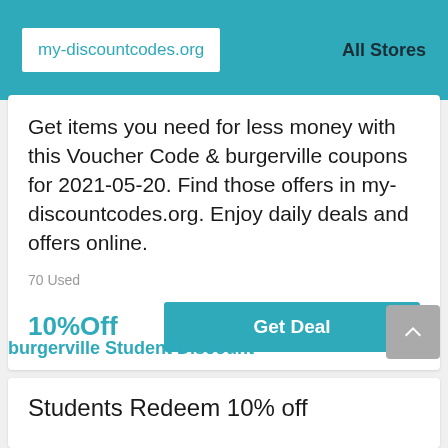my-discountcodes.org   All Stores
Get items you need for less money with this Voucher Code & burgerville coupons for 2021-05-20. Find those offers in my-discountcodes.org. Enjoy daily deals and offers online.
70 Used
10%Off
Get Deal
burgerville Student Discount
Students Redeem 10% off